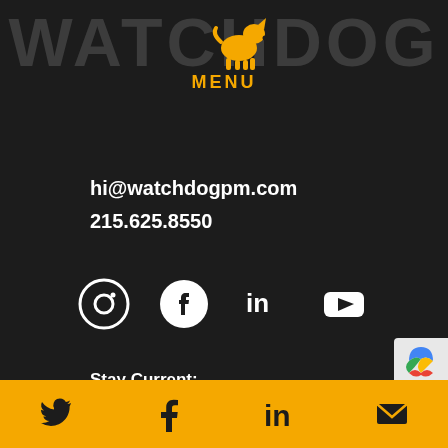WATCHDOG
MENU
hi@watchdogpm.com
215.625.8550
[Figure (infographic): Social media icons row: Instagram, Facebook, LinkedIn, YouTube — white on dark background]
Stay Current: The latest industry news, trends, and analysis.
[Figure (infographic): Bottom golden bar with social sharing icons: Twitter, Facebook, LinkedIn, Email]